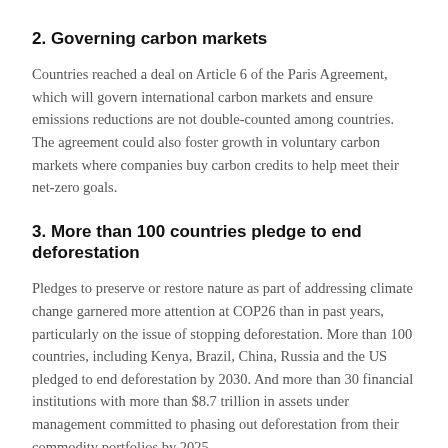2. Governing carbon markets
Countries reached a deal on Article 6 of the Paris Agreement, which will govern international carbon markets and ensure emissions reductions are not double-counted among countries. The agreement could also foster growth in voluntary carbon markets where companies buy carbon credits to help meet their net-zero goals.
3. More than 100 countries pledge to end deforestation
Pledges to preserve or restore nature as part of addressing climate change garnered more attention at COP26 than in past years, particularly on the issue of stopping deforestation. More than 100 countries, including Kenya, Brazil, China, Russia and the US pledged to end deforestation by 2030. And more than 30 financial institutions with more than $8.7 trillion in assets under management committed to phasing out deforestation from their commodity portfolios by 2025.